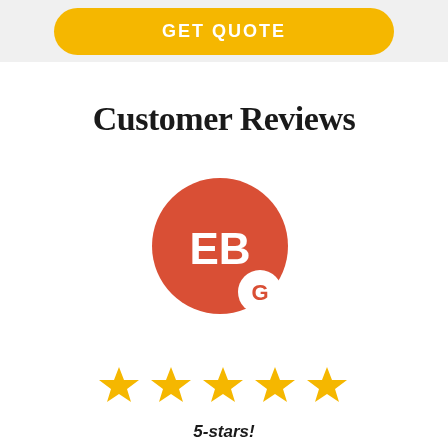GET QUOTE
Customer Reviews
[Figure (illustration): Red circular avatar with white letters EB and a Google G badge overlay in the lower right]
[Figure (other): Five gold star rating icons]
5-stars!